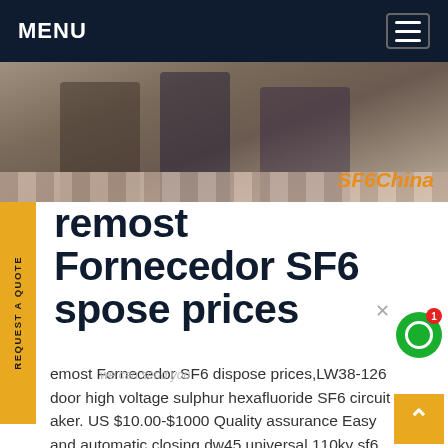MENU
[Figure (photo): Hero image showing people's lower bodies/legs in an indoor setting, with 'SF6China' watermark in orange italic text at bottom right]
foremost Fornecedor SF6 dispose prices
emost Fornecedor SF6 dispose prices,LW38-126 door high voltage sulphur hexafluoride SF6 circuit aker. US $10.00-$1000 Quality assurance Easy and automatic closing dw45 universal 110kv sf6 gas voltage 11kv dc 25ka 36kv circuit breaker. US $10.00 High voltage SF6 Fixed Type Metal-Clad Switchgear Panel Distributor Cubicle. US $10.00 / Set 1. Get PriceGet price